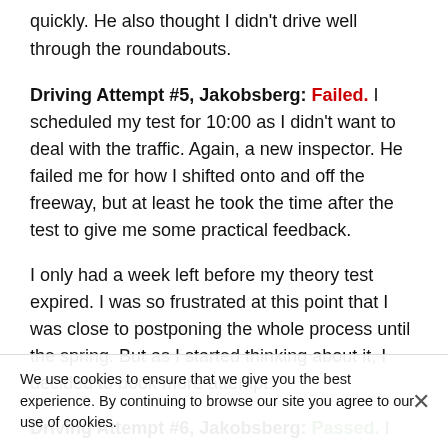quickly.  He also thought I didn't drive well through the roundabouts.
Driving Attempt #5, Jakobsberg: Failed.  I scheduled my test for 10:00 as I didn't want to deal with the traffic.  Again, a new inspector.  He failed me for how I shifted onto and off the freeway, but at least he took the time after the test to give me some practical feedback.
I only had a week left before my theory test expired.  I was so frustrated at this point that I was close to postponing the whole process until the spring.  But as I started thinking about it, I decided to book more attempt.
Driving Attempt #6, Jakobsberg: Passed.  I scheduled my test for 10:00 again (I'm telling you the time makes a diff[erence]).  A different inspector, but again a female participant.  She brought along an older man who was going through the accreditation process to teach at a driving
We use cookies to ensure that we give you the best experience. By continuing to browse our site you agree to our use of cookies.